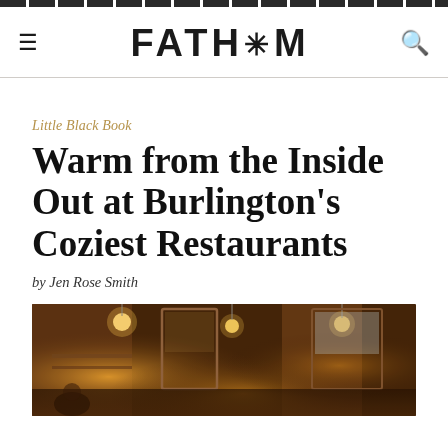FATH*M (Fathom logo with navigation hamburger and search icon)
Little Black Book
Warm from the Inside Out at Burlington's Coziest Restaurants
by Jen Rose Smith
[Figure (photo): Interior of a warm, dimly lit restaurant with glowing pendant lights, wooden furnishings, and brick walls. The scene evokes a cozy pub-like atmosphere.]